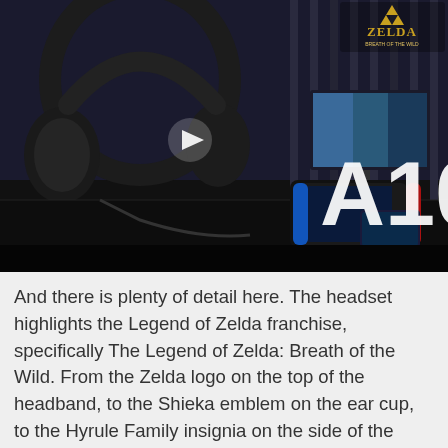[Figure (photo): Dark gaming setup photo showing a gaming headset (Legend of Zelda: Breath of the Wild themed), a Nintendo Switch, and a monitor on a desk. Overlaid with a play button triangle, the Zelda: Breath of the Wild logo in the top right, and large white 'A10' text.]
And there is plenty of detail here. The headset highlights the Legend of Zelda franchise, specifically The Legend of Zelda: Breath of the Wild. From the Zelda logo on the top of the headband, to the Shieka emblem on the ear cup, to the Hyrule Family insignia on the side of the band, there is more detail in this headset than you